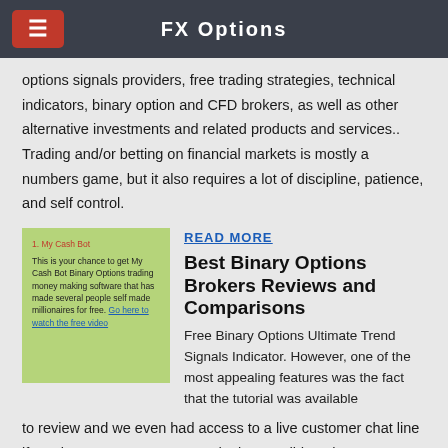FX Options
options signals providers, free trading strategies, technical indicators, binary option and CFD brokers, as well as other alternative investments and related products and services.. Trading and/or betting on financial markets is mostly a numbers game, but it also requires a lot of discipline, patience, and self control.
[Figure (screenshot): Green advertisement box for My Cash Bot binary options money making software with red title and blue link text]
READ MORE
Best Binary Options Brokers Reviews and Comparisons
Free Binary Options Ultimate Trend Signals Indicator. However, one of the most appealing features was the fact that the tutorial was available to review and we even had access to a live customer chat line if any issues were encountered – but we did not have any.